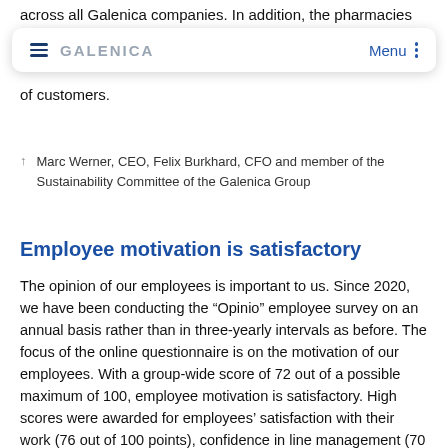across all Galenica companies. In addition, the pharmacies
[Figure (screenshot): Galenica website navigation bar with hamburger menu icon, GALENICA logo in grey, Menu text and three-dot icon in blue, on white background with shadow]
of customers.
↑  Marc Werner, CEO, Felix Burkhard, CFO and member of the Sustainability Committee of the Galenica Group
Employee motivation is satisfactory
The opinion of our employees is important to us. Since 2020, we have been conducting the “Opinio” employee survey on an annual basis rather than in three-yearly intervals as before. The focus of the online questionnaire is on the motivation of our employees. With a group-wide score of 72 out of a possible maximum of 100, employee motivation is satisfactory. High scores were awarded for employees’ satisfaction with their work (76 out of 100 points), confidence in line management (70 out of 100 points) and interest in the company’s future (80